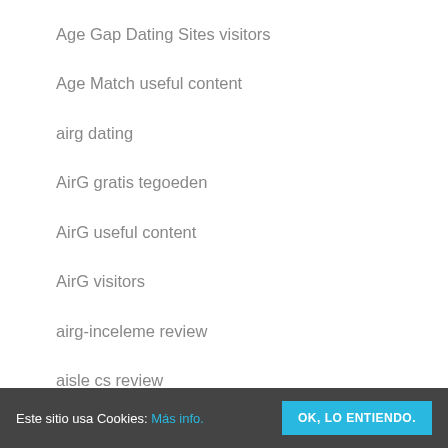Age Gap Dating Sites visitors
Age Match useful content
airg dating
AirG gratis tegoeden
AirG useful content
AirG visitors
airg-inceleme review
aisle cs review
Este sitio usa Cookies: Más info. OK, LO ENTIENDO.